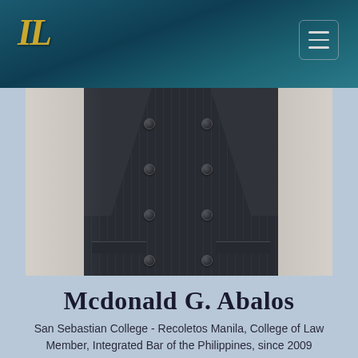[Figure (logo): IL monogram logo in gold italic serif font on dark teal header bar]
[Figure (photo): Torso photo of a person wearing a dark charcoal pinstripe double-breasted suit jacket, cropped to show chest and waist area only]
Mcdonald G. Abalos
San Sebastian College - Recoletos Manila, College of Law Member, Integrated Bar of the Philippines, since 2009